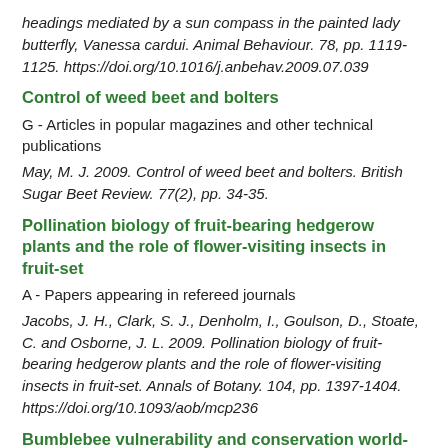headings mediated by a sun compass in the painted lady butterfly, Vanessa cardui. Animal Behaviour. 78, pp. 1119-1125. https://doi.org/10.1016/j.anbehav.2009.07.039
Control of weed beet and bolters
G - Articles in popular magazines and other technical publications
May, M. J. 2009. Control of weed beet and bolters. British Sugar Beet Review. 77(2), pp. 34-35.
Pollination biology of fruit-bearing hedgerow plants and the role of flower-visiting insects in fruit-set
A - Papers appearing in refereed journals
Jacobs, J. H., Clark, S. J., Denholm, I., Goulson, D., Stoate, C. and Osborne, J. L. 2009. Pollination biology of fruit-bearing hedgerow plants and the role of flower-visiting insects in fruit-set. Annals of Botany. 104, pp. 1397-1404. https://doi.org/10.1093/aob/mcp236
Bumblebee vulnerability and conservation world-wide